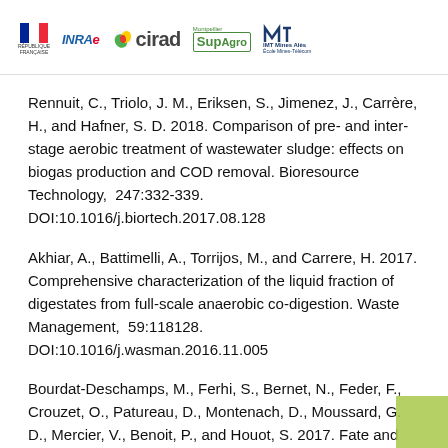République Française | INRAE | cirad | SupAgro | IMT Mines Alès
Rennuit, C., Triolo, J. M., Eriksen, S., Jimenez, J., Carrère, H., and Hafner, S. D. 2018. Comparison of pre- and inter-stage aerobic treatment of wastewater sludge: effects on biogas production and COD removal. Bioresource Technology,  247:332-339.  DOI:10.1016/j.biortech.2017.08.128
Akhiar, A., Battimelli, A., Torrijos, M., and Carrere, H. 2017. Comprehensive characterization of the liquid fraction of digestates from full-scale anaerobic co-digestion. Waste Management,  59:118128.  DOI:10.1016/j.wasman.2016.11.005
Bourdat-Deschamps, M., Ferhi, S., Bernet, N., Feder, F., Crouzet, O., Patureau, D., Montenach, D., Moussard, G. D., Mercier, V., Benoit, P., and Houot, S. 2017. Fate and impacts of pharmaceuticals and personal care products after...